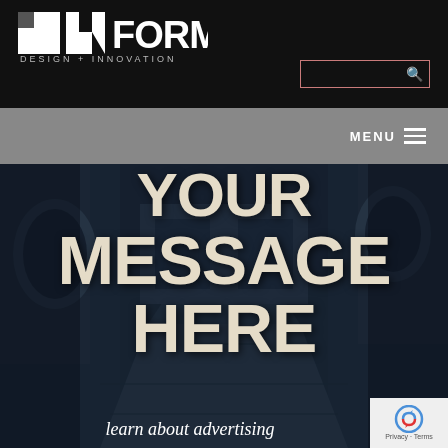[Figure (logo): INFORM Design + Innovation logo — bold geometric I and N letters with white text on black background, subtitle DESIGN + INNOVATION]
[Figure (screenshot): Search box with terracotta/salmon border and magnifying glass icon on black background]
MENU ≡
[Figure (photo): Dark moody street alley photo with cobblestones and arched buildings, overlaid with large bold text YOUR MESSAGE HERE]
YOUR MESSAGE HERE
learn about advertising
[Figure (logo): Google reCAPTCHA badge with Privacy and Terms text]